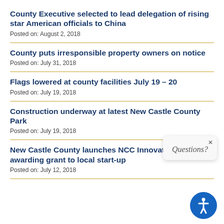County Executive selected to lead delegation of rising star American officials to China
Posted on: August 2, 2018
County puts irresponsible property owners on notice
Posted on: July 31, 2018
Flags lowered at county facilities July 19 – 20
Posted on: July 19, 2018
Construction underway at latest New Castle County Park
Posted on: July 19, 2018
New Castle County launches NCC Innovate by awarding grant to local start-up
Posted on: July 12, 2018
[Figure (other): Questions? overlay popup with close button and accessibility icon circle]